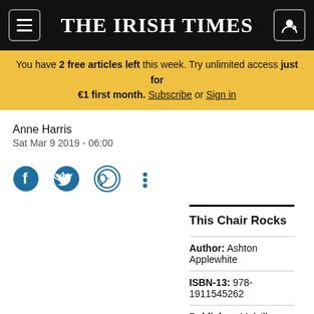THE IRISH TIMES
You have 2 free articles left this week. Try unlimited access just for €1 first month. Subscribe or Sign in
Anne Harris
Sat Mar 9 2019 - 06:00
[Figure (infographic): Social sharing icons: Facebook, Twitter, WhatsApp, and more options (three dots)]
| This Chair Rocks |  |
| Author: | Ashton Applewhite |
| ISBN-13: | 978-1911545262 |
| Publisher: | Melville House UK |
| Guideline Price: | £12.99 |